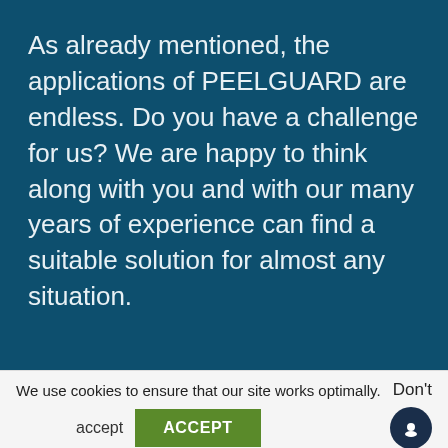As already mentioned, the applications of PEELGUARD are endless. Do you have a challenge for us? We are happy to think along with you and with our many years of experience can find a suitable solution for almost any situation.
We use cookies to ensure that our site works optimally. Don't accept ACCEPT